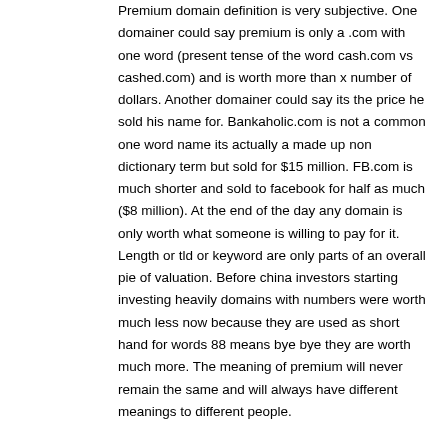Premium domain definition is very subjective. One domainer could say premium is only a .com with one word (present tense of the word cash.com vs cashed.com) and is worth more than x number of dollars. Another domainer could say its the price he sold his name for. Bankaholic.com is not a common one word name its actually a made up non dictionary term but sold for $15 million. FB.com is much shorter and sold to facebook for half as much ($8 million). At the end of the day any domain is only worth what someone is willing to pay for it. Length or tld or keyword are only parts of an overall pie of valuation. Before china investors starting investing heavily domains with numbers were worth much less now because they are used as short hand for words 88 means bye bye they are worth much more. The meaning of premium will never remain the same and will always have different meanings to different people.